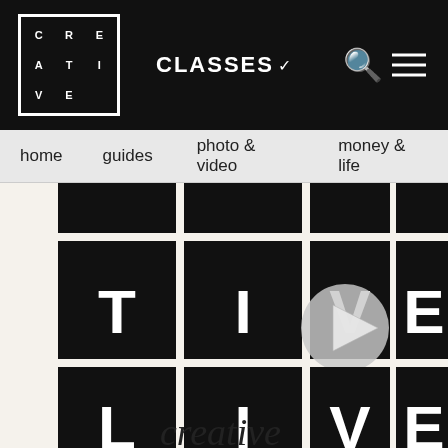CREA TIVE LIVE | CLASSES | [search icon] | [menu icon]
home   guides   photo & video   money & life
[Figure (screenshot): CreativeLive website hero section showing large black tiles arranged in a grid with white letters spelling out CREATIVE LIVE, with a play button overlay in the center, on a light cream background. Partially visible script text at the bottom.]